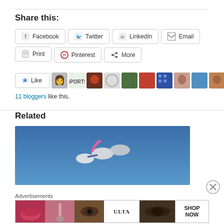Share this:
[Figure (screenshot): Social share buttons: Facebook, Twitter, LinkedIn, Email, Print, Pinterest, More]
[Figure (infographic): Like button with star icon and row of blogger avatar thumbnails. 11 bloggers like this.]
11 bloggers like this.
Related
[Figure (photo): Photo of skydivers or acrobatic figures against a blue sky]
Advertisements
[Figure (screenshot): ULTA beauty advertisement banner with makeup imagery and SHOP NOW button]